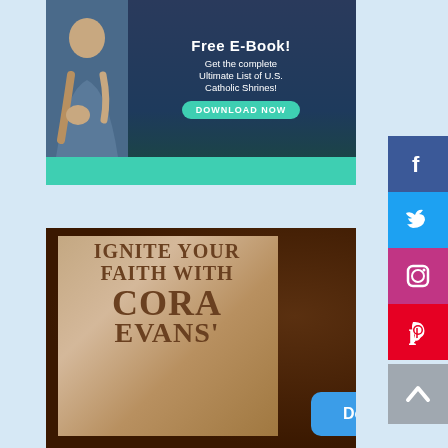[Figure (infographic): Free E-Book advertisement banner with dark blue/teal background, woman praying silhouette on left, text 'Free E-Book! Get the complete Ultimate List of U.S. Catholic Shrines!' with teal DOWNLOAD NOW button]
[Figure (infographic): Book advertisement: 'IGNITE YOUR FAITH WITH CORA EVANS' on a bronze/tan book cover against dark brown background with Donate button overlay]
[Figure (infographic): Social media sidebar with Facebook (purple/blue), Twitter (blue), Instagram (purple/pink), Pinterest (red) icons and a scroll-to-top button]